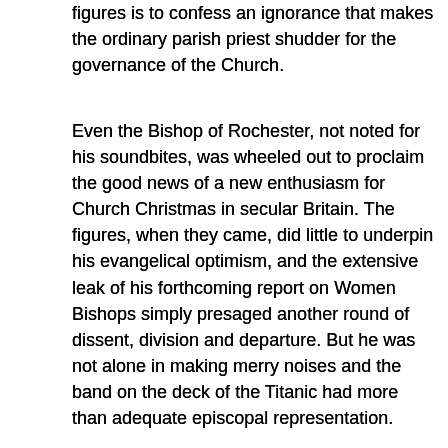figures is to confess an ignorance that makes the ordinary parish priest shudder for the governance of the Church.
Even the Bishop of Rochester, not noted for his soundbites, was wheeled out to proclaim the good news of a new enthusiasm for Church Christmas in secular Britain. The figures, when they came, did little to underpin his evangelical optimism, and the extensive leak of his forthcoming report on Women Bishops simply presaged another round of dissent, division and departure. But he was not alone in making merry noises and the band on the deck of the Titanic had more than adequate episcopal representation.
Not a few bishops of late have trumpeted the marvellous attendances at ‘our’ (Deans take note) cathedrals. Having had the privilege of working in a cathedral for five years, under the great Dean Peter Moore, I can understand why. Aesthetics are fantastic, the sense of history tangible, the music (usually) breathtaking and uplifting. With these in place the lit...